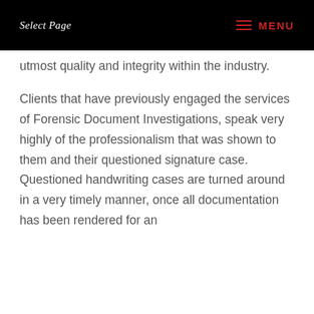Select Page   MENU
utmost quality and integrity within the industry.
Clients that have previously engaged the services of Forensic Document Investigations, speak very highly of the professionalism that was shown to them and their questioned signature case. Questioned handwriting cases are turned around in a very timely manner, once all documentation has been rendered for an